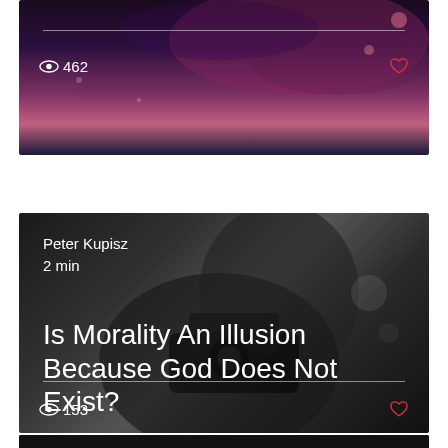[Figure (photo): Partially visible top card with space/galaxy background, showing eye icon with view count 462 and heart icon]
462
[Figure (photo): Dark black-and-white photo of a person holding a camera/gun pointing toward viewer. Overlay text shows author Peter Kupisz, 2 min read, and title Is Morality An Illusion Because God Does Not Exist?]
Peter Kupisz
2 min
Is Morality An Illusion Because God Does Not Exist?
153
[Figure (photo): Partially visible bottom card with dark background, showing beginning of another post with text 'I don't have much']